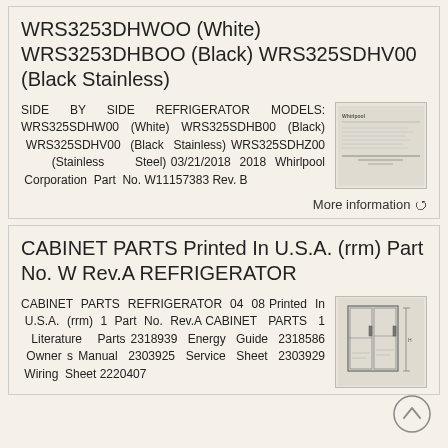WRS3253DHWOO (White) WRS3253DHBOO (Black) WRS325SDHV00 (Black Stainless)
SIDE BY SIDE REFRIGERATOR MODELS: WRS325SDHW00 (White) WRS325SDHB00 (Black) WRS325SDHV00 (Black Stainless) WRS325SDHZ00 (Stainless Steel) 03/21/2018 2018 Whirlpool Corporation Part No. W11157383 Rev. B
CABINET PARTS Printed In U.S.A. (rrm) Part No. W Rev.A REFRIGERATOR
CABINET PARTS REFRIGERATOR 04 08 Printed In U.S.A. (rrm) 1 Part No. Rev.A CABINET PARTS 1 Literature Parts 2318939 Energy Guide 2318586 Owner s Manual 2303925 Service Sheet 2303929 Wiring Sheet 2220407